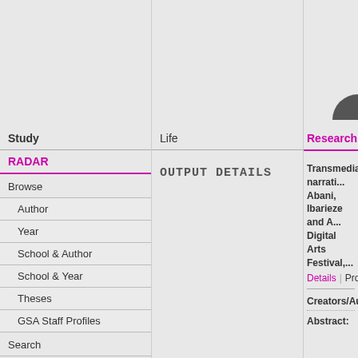Study
RADAR
Browse
Author
Year
School & Author
School & Year
Theses
GSA Staff Profiles
Search
Latest
Life
OUTPUT DETAILS
Research
Transmedia narrati... Abani, Ibarieze and ... Digital Arts Festival,...
Details | Prof
Creators/Authors:
Abstract: